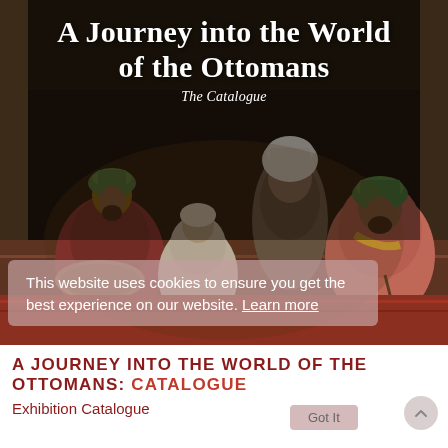[Figure (illustration): Painting showing four Ottoman men seated in a dimly lit interior. Three wear green and white turbans; they appear to be conversing. The background is dark. The painting is in warm earth tones.]
A Journey into the World of the Ottomans
The Catalogue
This website uses cookies to ensure you get the best experience on our website. Learn more
A JOURNEY INTO THE WORLD OF THE OTTOMANS: CATALOGUE
Exhibition Catalogue